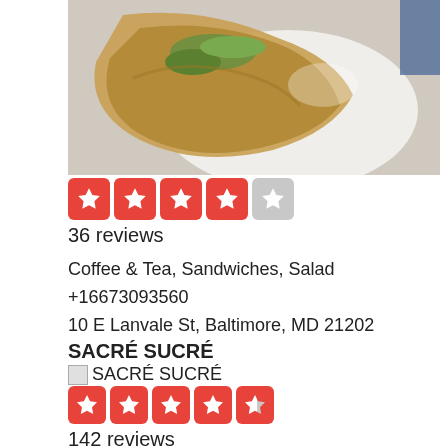[Figure (photo): Photo of a food item, appears to be a sandwich or wrap with green herbs, shown on a white plate]
[Figure (other): 4 out of 5 stars rating displayed as red star icons]
36 reviews
Coffee & Tea, Sandwiches, Salad
+16673093560
10 E Lanvale St, Baltimore, MD 21202
SACRÉ SUCRÉ
SACRÉ SUCRÉ (broken image)
[Figure (other): 4.5 out of 5 stars rating displayed as red star icons]
142 reviews
Macarons, Bakeries, Coffee & Tea
+14438730020